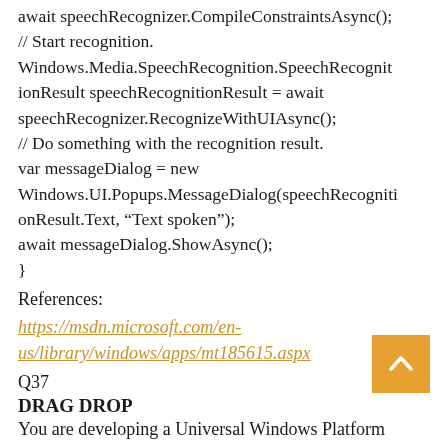await speechRecognizer.CompileConstraintsAsync();
// Start recognition.
Windows.Media.SpeechRecognition.SpeechRecognitionResult speechRecognitionResult = await speechRecognizer.RecognizeWithUIAsync();
// Do something with the recognition result.
var messageDialog = new Windows.UI.Popups.MessageDialog(speechRecognitionResult.Text, “Text spoken”);
await messageDialog.ShowAsync();
}
References:
https://msdn.microsoft.com/en-us/library/windows/apps/mt185615.aspx
Q37
DRAG DROP
You are developing a Universal Windows Platform